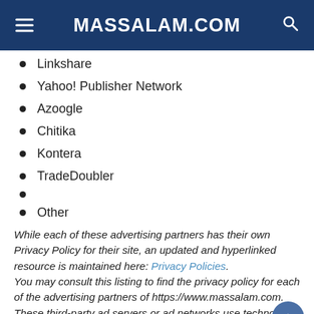MASSALAM.COM
Linkshare
Yahoo! Publisher Network
Azoogle
Chitika
Kontera
TradeDoubler
Other
While each of these advertising partners has their own Privacy Policy for their site, an updated and hyperlinked resource is maintained here: Privacy Policies. You may consult this listing to find the privacy policy for each of the advertising partners of https://www.massalam.com. These third-party ad servers or ad networks use technology